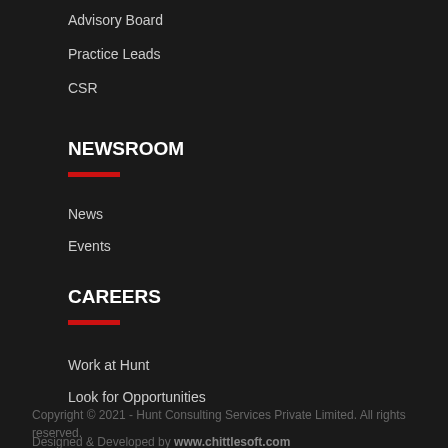Advisory Board
Practice Leads
CSR
NEWSROOM
News
Events
CAREERS
Work at Hunt
Look for Opportunities
Copyright © 2021 - Hunt Consulting Services Private Limited. All rights reserved.
Designed & Developed by www.chittlesoft.com